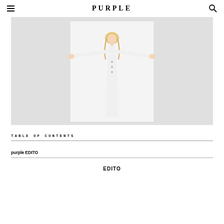PURPLE
[Figure (photo): A blonde woman in a white long-sleeve gown with arms outstretched in a cross/T-pose pose, photographed against a white background. The image is displayed within a light gray page background.]
TABLE OF CONTENTS
purple EDITO
EDITO